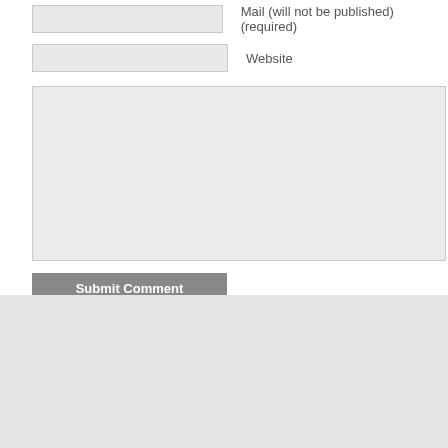Mail (will not be published) (required)
Website
[Figure (screenshot): Large textarea input field for comment text]
Submit Comment